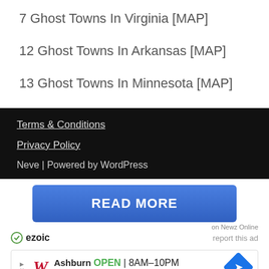7 Ghost Towns In Virginia [MAP]
12 Ghost Towns In Arkansas [MAP]
13 Ghost Towns In Minnesota [MAP]
Terms & Conditions
Privacy Policy
Neve | Powered by WordPress
[Figure (other): READ MORE button advertisement on Newz Online with ezoic branding and report this ad link]
[Figure (other): Walgreens local ad showing Ashburn location, OPEN 8AM-10PM, address 20321 Susan Leslie Dr, Ashburn with navigation arrow]